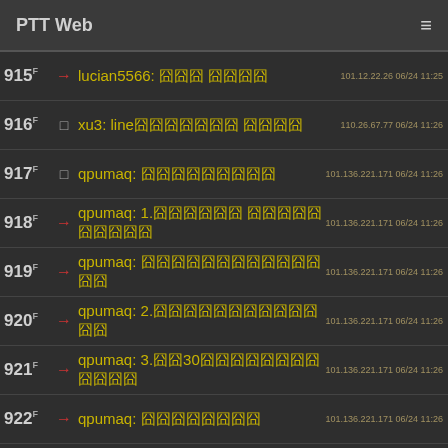PTT Web
915 → lucian5566: 囧囧 囧囧囧囧  101.12.22.26 06/24 11:25
916 □ xu3: line囧囧囧囧囧囧囧 囧囧囧囧  110.26.67.77 06/24 11:26
917 □ qpumaq: 囧囧囧囧囧囧囧囧囧  101.136.221.171 06/24 11:26
918 → qpumaq: 1.囧囧囧囧囧囧 囧囧囧囧囧囧囧囧囧囧  101.136.221.171 06/24 11:26
919 → qpumaq: 囧囧囧囧囧囧囧囧囧囧囧囧囧囧  101.136.221.171 06/24 11:26
920 → qpumaq: 2.囧囧囧囧囧囧囧囧囧囧囧囧囧  101.136.221.171 06/24 11:26
921 → qpumaq: 3.囧囧30囧囧囧囧囧囧囧囧囧囧囧囧  101.136.221.171 06/24 11:26
922 → qpumaq: 囧囧囧囧囧囧囧囧  101.136.221.171 06/24 11:26
923 → qpumaq: 4.囧囧囧/囧囧囧囧囧囧囧囧囧囧  101.136.221.171 06/24 11:26
924 → qpumaq: 5.囧囧囧囧@...